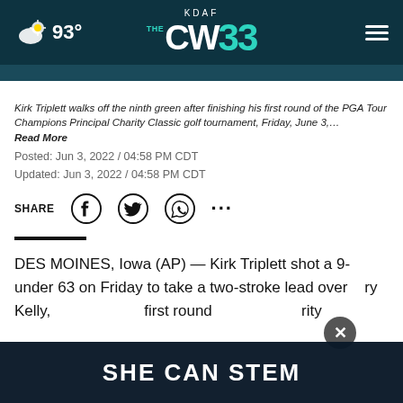KDAF CW 33 — 93°
Kirk Triplett walks off the ninth green after finishing his first round of the PGA Tour Champions Principal Charity Classic golf tournament, Friday, June 3,…
Read More
Posted: Jun 3, 2022 / 04:58 PM CDT
Updated: Jun 3, 2022 / 04:58 PM CDT
SHARE
DES MOINES, Iowa (AP) — Kirk Triplett shot a 9-under 63 on Friday to take a two-stroke lead over Jerry Kelly, ... first round ... rity
[Figure (other): SHE CAN STEM promotional banner overlay at the bottom of the page]